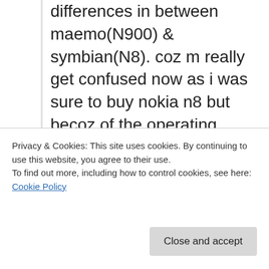hi mitian can u tell me that what are the basic differences in between maemo(N900) & symbian(N8). coz m really get confused now as i was sure to buy nokia n8 but becoz of the operating system m confused again & also i love dolby as well as hdmi support. plz also tell whether we will find a huge differences in camera of both d phones or not bcoz i think 12megapixel is fitted in such a small & sleek phone. In simple language which phone is better.Plz reply.
Privacy & Cookies: This site uses cookies. By continuing to use this website, you agree to their use.
To find out more, including how to control cookies, see here: Cookie Policy